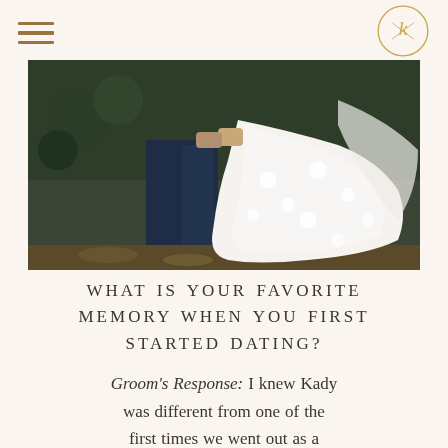[hamburger menu icon] [logo]
[Figure (photo): Close-up photo of a bride and groom from waist down. The groom wears a dark navy suit with brown leather shoes. The bride wears a white lace/tulle wedding dress with floral appliqués. They stand on a path with autumn leaves and foliage in the background.]
WHAT IS YOUR FAVORITE MEMORY WHEN YOU FIRST STARTED DATING?
Groom's Response: I knew Kady was different from one of the first times we went out as a couple. We went to a club called